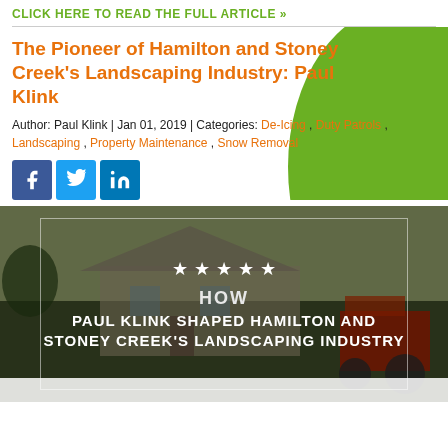CLICK HERE TO READ THE FULL ARTICLE »
The Pioneer of Hamilton and Stoney Creek's Landscaping Industry: Paul Klink
Author: Paul Klink | Jan 01, 2019 | Categories: De-Icing , Duty Patrols , Landscaping , Property Maintenance , Snow Removal
[Figure (infographic): Social media share buttons: Facebook (blue), Twitter (blue), LinkedIn (blue)]
[Figure (photo): Photo of a house with lawn and a red tractor, overlaid with text: HOW PAUL KLINK SHAPED HAMILTON AND STONEY CREEK'S LANDSCAPING INDUSTRY, with 5 stars above the text, inside a bordered box]